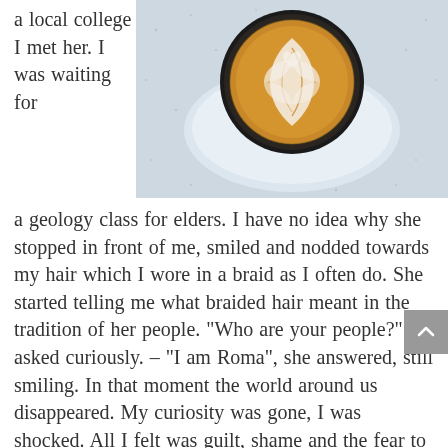a local college I met her. I was waiting for
[Figure (photo): Overhead view of a latte art coffee cup on a white saucer, placed on a speckled light blue surface.]
a geology class for elders. I have no idea why she stopped in front of me, smiled and nodded towards my hair which I wore in a braid as I often do. She started telling me what braided hair meant in the tradition of her people. “Who are your people?” I asked curiously. – “I am Roma”, she answered, still smiling. In that moment the world around us disappeared. My curiosity was gone, I was shocked. All I felt was guilt, shame and the fear to be judged and rejected. “I am German”, I said in a low voice. She looked right in my eyes, her face very serious now. Tears welled up in my eyes. “I am sorry”, I whispered, the words almost got stuck in my throat. We were alone, enveloped in a grief that was older than we. Time stood still for a moment.